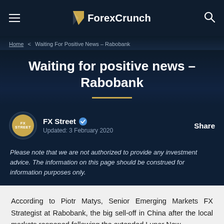ForexCrunch
Home < Waiting For Positive News – Rabobank
Waiting for positive news – Rabobank
FX Street  Updated: 3 February 2020  Share
Please note that we are not authorized to provide any investment advice. The information on this page should be construed for information purposes only.
According to Piotr Matys, Senior Emerging Markets FX Strategist at Rabobank, the big sell-off in China after the local markets reopened following the extended Lunar New